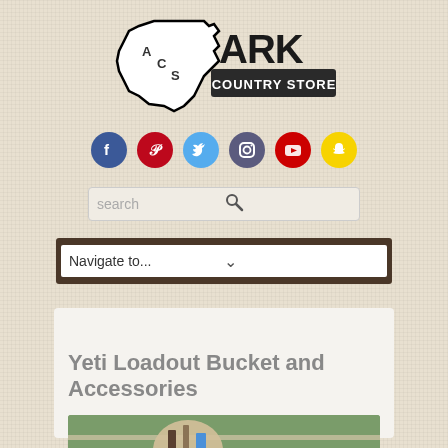[Figure (logo): Ark Country Store logo with Texas state outline and ACS letters inside, with 'ARK COUNTRY STORE' text in bold]
[Figure (infographic): Row of six social media icon circles: Facebook (blue), Pinterest (red), Twitter (light blue), Instagram (gray-blue), YouTube (red), Snapchat (yellow)]
[Figure (screenshot): Search bar with placeholder text 'search' and magnifying glass icon]
[Figure (screenshot): Navigation dropdown selector showing 'Navigate to...' with chevron arrow, on dark wood-grain background bar]
Yeti Loadout Bucket and Accessories
[Figure (photo): Partial photo of Yeti Loadout Bucket with accessories, outdoors near a fence with green grass background]